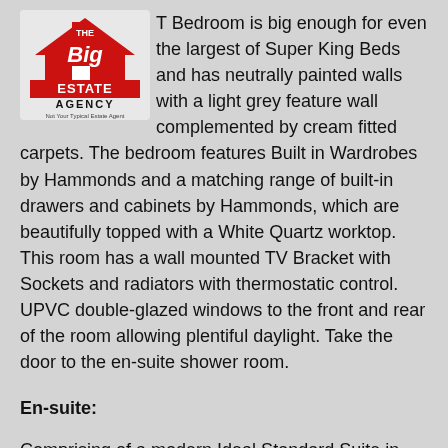[Figure (logo): The Big Estate Agency logo — red house icon with bold text 'The Big ESTATE AGENCY' and tagline 'Not Your Typical Estate Agent']
The Master Bedroom is big enough for even the largest of Super King Beds and has neutrally painted walls with a light grey feature wall complemented by cream fitted carpets.  The bedroom features Built in Wardrobes by Hammonds and a matching range of built-in drawers and cabinets by Hammonds, which are beautifully topped with a White Quartz worktop. This room has a wall mounted TV Bracket with Sockets and radiators with thermostatic control. UPVC double-glazed windows to the front and rear of the room allowing plentiful daylight. Take the door to the en-suite shower room.
En-suite:
Comprising of a modern Ideal Standard Suite in White.  WC, Wash Basin with contemporary tiled splash back and a tiled Shower Cubical featuring an Aqualisa Power Shower.  Tile